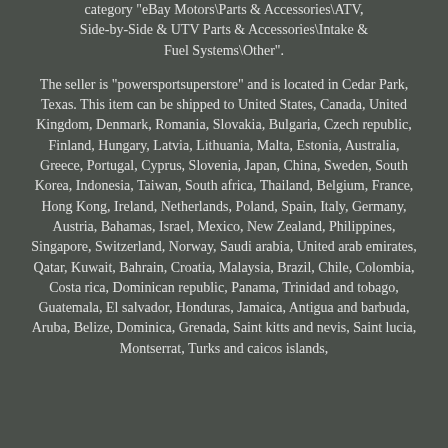category "eBay Motors\Parts & Accessories\ATV, Side-by-Side & UTV Parts & Accessories\Intake & Fuel Systems\Other".
The seller is "powersportsuperstore" and is located in Cedar Park, Texas. This item can be shipped to United States, Canada, United Kingdom, Denmark, Romania, Slovakia, Bulgaria, Czech republic, Finland, Hungary, Latvia, Lithuania, Malta, Estonia, Australia, Greece, Portugal, Cyprus, Slovenia, Japan, China, Sweden, South Korea, Indonesia, Taiwan, South africa, Thailand, Belgium, France, Hong Kong, Ireland, Netherlands, Poland, Spain, Italy, Germany, Austria, Bahamas, Israel, Mexico, New Zealand, Philippines, Singapore, Switzerland, Norway, Saudi arabia, United arab emirates, Qatar, Kuwait, Bahrain, Croatia, Malaysia, Brazil, Chile, Colombia, Costa rica, Dominican republic, Panama, Trinidad and tobago, Guatemala, El salvador, Honduras, Jamaica, Antigua and barbuda, Aruba, Belize, Dominica, Grenada, Saint kitts and nevis, Saint lucia, Montserrat, Turks and caicos islands, Barbados, Trinidad and tobago, Bolivia, Ecuador,